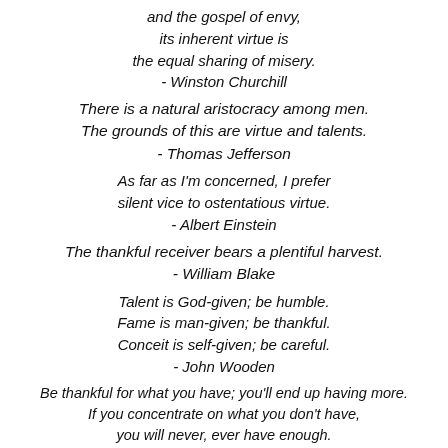and the gospel of envy,
its inherent virtue is
the equal sharing of misery.
- Winston Churchill
There is a natural aristocracy among men.
The grounds of this are virtue and talents.
- Thomas Jefferson
As far as I'm concerned, I prefer
silent vice to ostentatious virtue.
- Albert Einstein
The thankful receiver bears a plentiful harvest.
- William Blake
Talent is God-given; be humble.
Fame is man-given; be thankful.
Conceit is self-given; be careful.
- John Wooden
Be thankful for what you have; you'll end up having more.
If you concentrate on what you don't have,
you will never, ever have enough.
- Oprah Winfrey